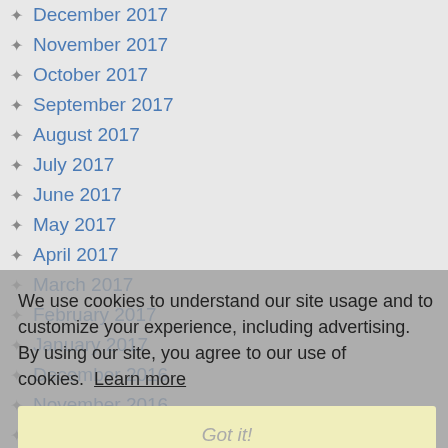December 2017
November 2017
October 2017
September 2017
August 2017
July 2017
June 2017
May 2017
April 2017
March 2017
February 2017
January 2017
December 2016
November 2016
October 2016
September 2016
August 2016
July 2016
June 2016
May 2016
We use cookies to understand our site usage and to customize your experience, including advertising. By using our site, you agree to our use of cookies. Learn more
Got it!